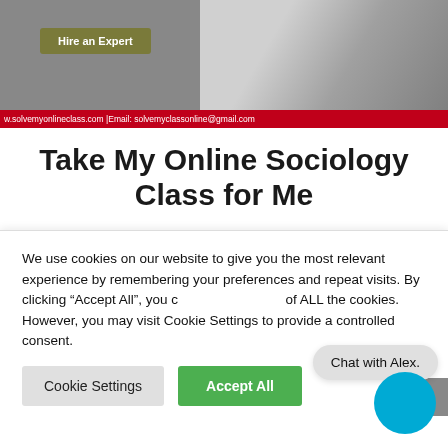[Figure (screenshot): Website banner with 'Hire an Expert' button in olive/khaki color, laptop photo on right, red bar at bottom with website URL and email]
Take My Online Sociology Class for Me
Relative learning of human communities allows human beings to understand that the people at various
We use cookies on our website to give you the most relevant experience by remembering your preferences and repeat visits. By clicking “Accept All”, you consent to the use of ALL the cookies. However, you may visit “Cookie Settings” to provide a controlled consent.
Cookie Settings
Accept All
Chat with Alex.